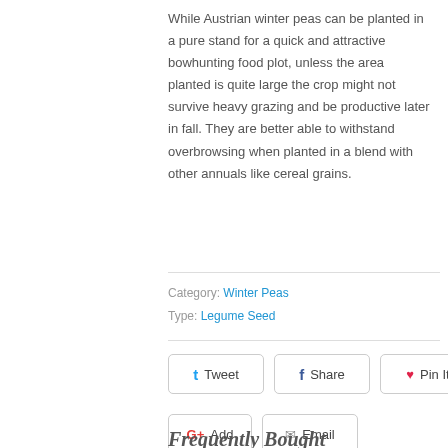While Austrian winter peas can be planted in a pure stand for a quick and attractive bowhunting food plot, unless the area planted is quite large the crop might not survive heavy grazing and be productive later in fall. They are better able to withstand overbrowsing when planted in a blend with other annuals like cereal grains.
Category: Winter Peas
Type: Legume Seed
Tweet  Share  Pin It  Add  Email
Frequently Bought